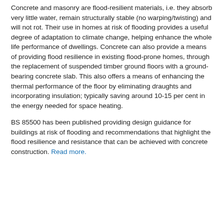Concrete and masonry are flood-resilient materials, i.e. they absorb very little water, remain structurally stable (no warping/twisting) and will not rot. Their use in homes at risk of flooding provides a useful degree of adaptation to climate change, helping enhance the whole life performance of dwellings. Concrete can also provide a means of providing flood resilience in existing flood-prone homes, through the replacement of suspended timber ground floors with a ground-bearing concrete slab. This also offers a means of enhancing the thermal performance of the floor by eliminating draughts and incorporating insulation; typically saving around 10-15 per cent in the energy needed for space heating.
BS 85500 has been published providing design guidance for buildings at risk of flooding and recommendations that highlight the flood resilience and resistance that can be achieved with concrete construction. Read more.